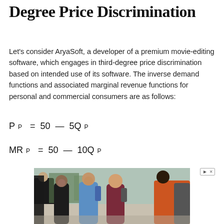Degree Price Discrimination
Let’s consider AryaSoft, a developer of a premium movie-editing software, which engages in third-degree price discrimination based on intended use of its software. The inverse demand functions and associated marginal revenue functions for personal and commercial consumers are as follows:
[Figure (photo): Group of young adults walking outdoors on a campus-style path, smiling and carrying backpacks. Several people visible, wearing casual clothing in various colors.]